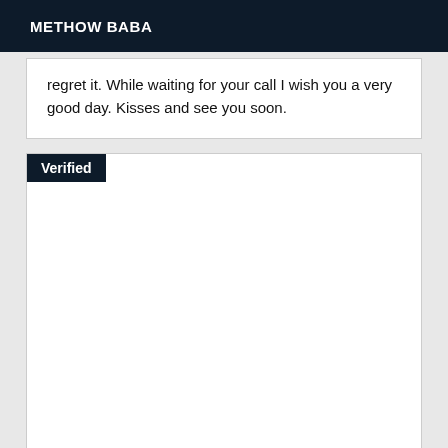METHOW BABA
regret it. While waiting for your call I wish you a very good day. Kisses and see you soon.
Verified